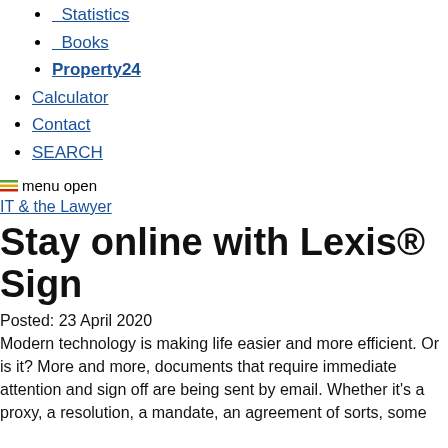Statistics
Books
Property24
Calculator
Contact
SEARCH
[Figure (illustration): menu open icon]
IT & the Lawyer
Stay online with Lexis® Sign
Posted: 23 April 2020
Modern technology is making life easier and more efficient. Or is it? More and more, documents that require immediate attention and sign off are being sent by email. Whether it's a proxy, a resolution, a mandate, an agreement of sorts, some